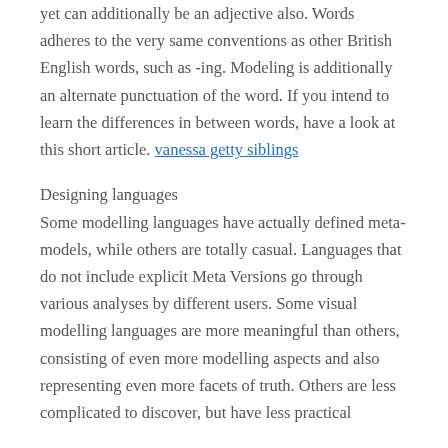yet can additionally be an adjective also. Words adheres to the very same conventions as other British English words, such as -ing. Modeling is additionally an alternate punctuation of the word. If you intend to learn the differences in between words, have a look at this short article. vanessa getty siblings
Designing languages
Some modelling languages have actually defined meta-models, while others are totally casual. Languages that do not include explicit Meta Versions go through various analyses by different users. Some visual modelling languages are more meaningful than others, consisting of even more modelling aspects and also representing even more facets of truth. Others are less complicated to discover, but have less practical